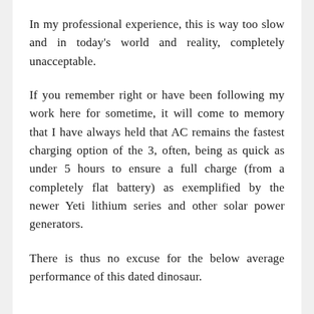In my professional experience, this is way too slow and in today's world and reality, completely unacceptable.
If you remember right or have been following my work here for sometime, it will come to memory that I have always held that AC remains the fastest charging option of the 3, often, being as quick as under 5 hours to ensure a full charge (from a completely flat battery) as exemplified by the newer Yeti lithium series and other solar power generators.
There is thus no excuse for the below average performance of this dated dinosaur.